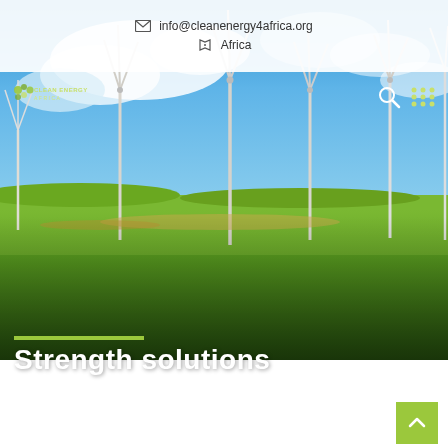info@cleanenergy4africa.org  Africa
[Figure (photo): Wind turbines in a green field under a blue sky with clouds — hero image for cleanenergy4africa.org]
Strength solutions